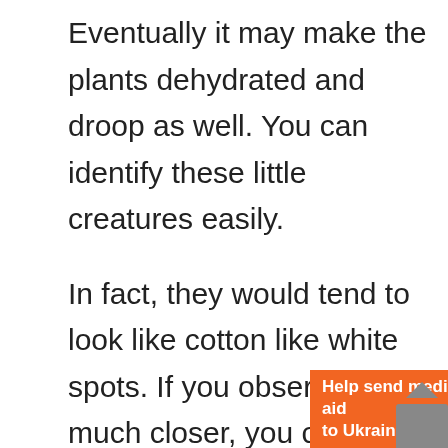Eventually it may make the plants dehydrated and droop as well. You can identify these little creatures easily.
In fact, they would tend to look like cotton like white spots. If you observe them much closer, you could see them moving around too.
[Figure (other): Orange advertisement banner for Direct Relief: 'Help send medical aid to Ukraine >>' with Direct Relief logo on right side]